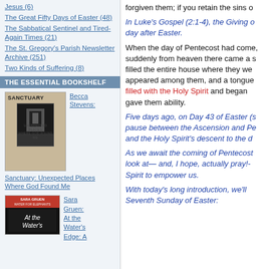Jesus (6)
The Great Fifty Days of Easter (48)
The Sabbatical Sentinel and Tired-Again Times (21)
The St. Gregory's Parish Newsletter Archive (251)
Two Kinds of Suffering (8)
THE ESSENTIAL BOOKSHELF
[Figure (photo): Book cover: Sanctuary: Unexpected Places Where God Found Me by Becca Stevens]
Becca Stevens:
Sanctuary: Unexpected Places Where God Found Me
[Figure (photo): Book cover: At the Water's Edge by Sara Gruen]
Sara Gruen: At the Water's Edge: A
forgiven them; if you retain the sins o
In Luke's Gospel (2:1-4), the Giving o day after Easter.
When the day of Pentecost had come, suddenly from heaven there came a s filled the entire house where they we appeared among them, and a tongue filled with the Holy Spirit and began gave them ability.
Five days ago, on Day 43 of Easter (s pause between the Ascension and Pe and the Holy Spirit's descent to the d
As we await the coming of Pentecost look at— and, I hope, actually pray!- Spirit to empower us.
With today's long introduction, we'll Seventh Sunday of Easter: